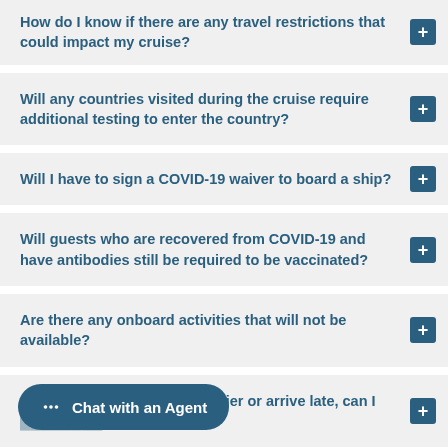How do I know if there are any travel restrictions that could impact my cruise?
Will any countries visited during the cruise require additional testing to enter the country?
Will I have to sign a COVID-19 waiver to board a ship?
Will guests who are recovered from COVID-19 and have antibodies still be required to be vaccinated?
Are there any onboard activities that will not be available?
If I'm denied boarding at the pier or arrive late, can I [board at the ne]xt port?
Chat with an Agent